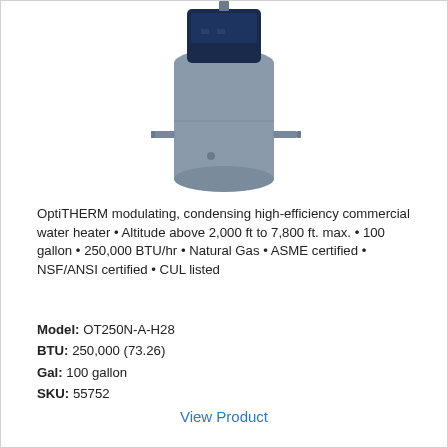[Figure (photo): Commercial water heater unit - cylindrical gray tank with dark blue control panel at top]
OptiTHERM modulating, condensing high-efficiency commercial water heater • Altitude above 2,000 ft to 7,800 ft. max. • 100 gallon • 250,000 BTU/hr • Natural Gas • ASME certified • NSF/ANSI certified • CUL listed
Model: OT250N-A-H28
BTU: 250,000 (73.26)
Gal: 100 gallon
SKU: 55752
View Product